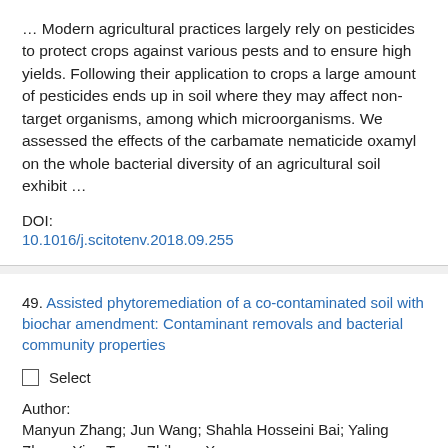… Modern agricultural practices largely rely on pesticides to protect crops against various pests and to ensure high yields. Following their application to crops a large amount of pesticides ends up in soil where they may affect non-target organisms, among which microorganisms. We assessed the effects of the carbamate nematicide oxamyl on the whole bacterial diversity of an agricultural soil exhibit …
DOI:
10.1016/j.scitotenv.2018.09.255
49. Assisted phytoremediation of a co-contaminated soil with biochar amendment: Contaminant removals and bacterial community properties
Select
Author:
Manyun Zhang; Jun Wang; Shahla Hosseini Bai; Yaling Zhang; Ying Teng; Zhihong Xu
Source: